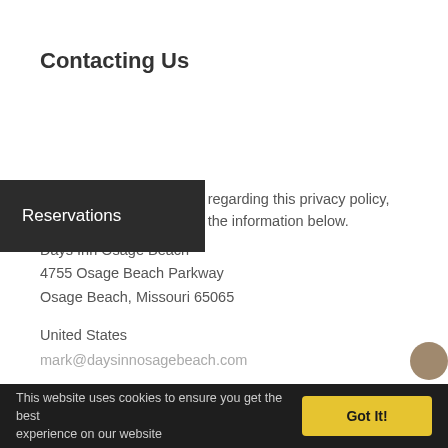Contacting Us
[Figure (screenshot): Dark navigation overlay with white text 'Reservations']
If there are any questions regarding this privacy policy, you may contact us using the information below.
Days Inn Osage Beach
4755 Osage Beach Parkway
Osage Beach, Missouri 65065

United States
mark@daysinnosagebeach.com

Last Edited on 2017-10-15
This website uses cookies to ensure you get the best experience on our website   Got It!